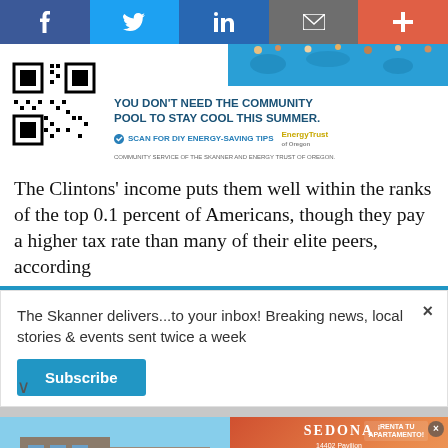[Figure (other): Social media sharing bar with Facebook, Twitter, LinkedIn, email, and plus buttons]
[Figure (other): Advertisement for Energy Trust of Oregon with QR code and pool photo: YOU DON'T NEED THE COMMUNITY POOL TO STAY COOL THIS SUMMER. SCAN FOR DIY ENERGY-SAVING TIPS. EnergyTrust of Oregon. Community service of The Skanner and Energy Trust of Oregon.]
The Clintons' income puts them well within the ranks of the top 0.1 percent of Americans, though they pay a higher tax rate than many of their elite peers, according
[Figure (other): Newsletter subscription popup: The Skanner delivers...to your inbox! Breaking news, local stories & events sent twice a week. Subscribe button. Close X button.]
[Figure (other): Advertisement for Sedona Apartments: RENTA TU APARTAMENTO Y MUDATE HOY! IVEN Y VISITANOS. 14402 Pavilion Point, Houston, TX 77083. www.apartments.com. 1 Y 2 RECAMARAS. 281-568-4596.]